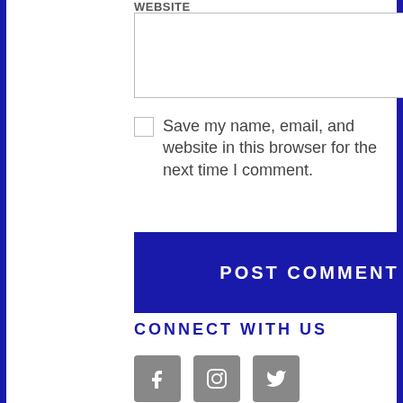WEBSITE
Save my name, email, and website in this browser for the next time I comment.
POST COMMENT
CONNECT WITH US
[Figure (illustration): Three social media icon buttons: Facebook (f), Instagram (camera), Twitter (bird), all in grey rounded square containers]